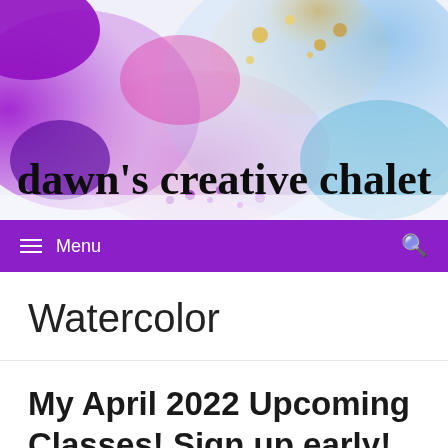[Figure (illustration): Website header banner with watercolor paint splashes in purple, pink, blue, and gold colors. Shows the blog title 'dawn's creative chalet' in black cursive script overlaid on the colorful watercolor background.]
≡ Menu  🔍
Watercolor
My April 2022 Upcoming Classes! Sign up early!
March 15, 2022